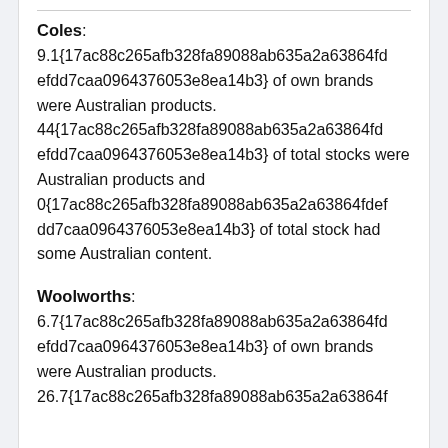Coles: 9.1{17ac88c265afb328fa89088ab635a2a63864fdefdd7caa0964376053e8ea14b3} of own brands were Australian products. 44{17ac88c265afb328fa89088ab635a2a63864fdefdd7caa0964376053e8ea14b3} of total stocks were Australian products and 0{17ac88c265afb328fa89088ab635a2a63864fdefdd7caa0964376053e8ea14b3} of total stock had some Australian content.
Woolworths: 6.7{17ac88c265afb328fa89088ab635a2a63864fdefdd7caa0964376053e8ea14b3} of own brands were Australian products. 26.7{17ac88c265afb328fa89088ab635a2a63864f